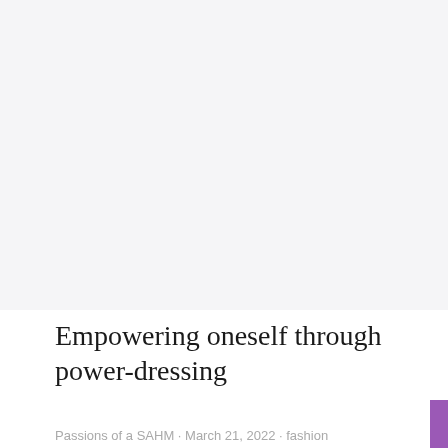[Figure (photo): Large image placeholder area at top of blog post page, light gray background]
Empowering oneself through power-dressing
Passions of a SAHM · March 21, 2022 · fashion